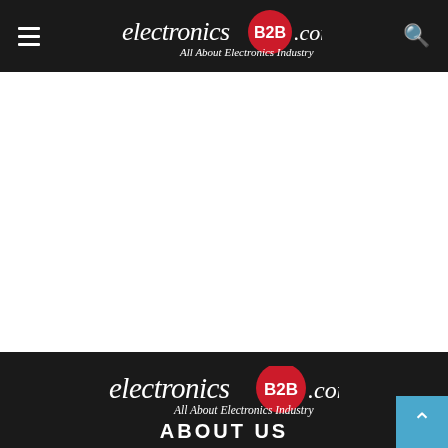electronics B2B .com — All About Electronics Industry
[Figure (logo): ElectronicsB2B.com logo in footer: italic 'electronics' text, red circle with white 'B2B' text, '.com' text, tagline 'All About Electronics Industry']
ABOUT US